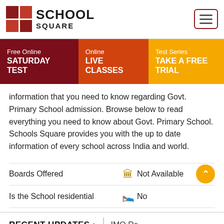[Figure (logo): School Square logo with red checkered square icon and bold SCHOOL SQUARE text]
[Figure (other): Hamburger menu button with three horizontal lines inside a rounded rectangle border]
Free Online SATURDAY TEST | Online LIVE CLASSES | Test Series TAKE A FREE TRIAL
information that you need to know regarding Govt. Primary School admission. Browse below to read everything you need to know about Govt. Primary School. Schools Square provides you with the up to date information of every school across India and world.
Boards Offered — Not Available
Is the School residential — No
RECENT UPDATES > IMO Re